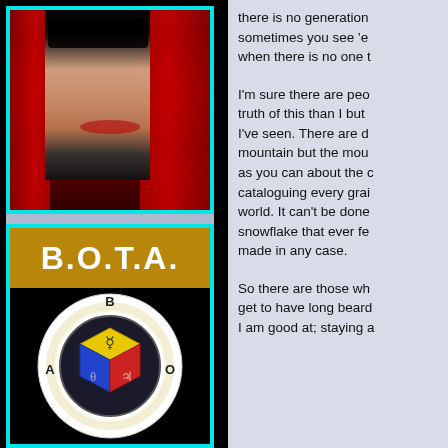[Figure (photo): Woman with dark eye makeup and red hair against red curtain backdrop, face partially visible]
[Figure (logo): B.O.T.A. logo: golden/brown banner with white text 'B.O.T.A.' above a black background showing a circular emblem with colored cube (yellow, blue, red) bearing alchemical symbols, letters B, A, O around the circle]
there is no generation sometimes you see 'e when there is no one t
I'm sure there are peo truth of this than I but I've seen. There are d mountain but the mou as you can about the cataloguing every grai world. It can't be done snowflake that ever fe made in any case.
So there are those wh get to have long beard I am good at; staying a